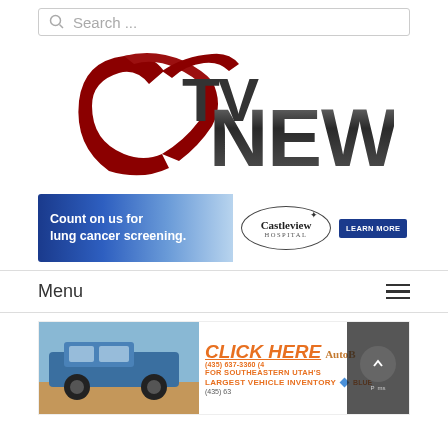[Figure (screenshot): Search bar with magnifying glass icon and placeholder text 'Search ...']
[Figure (logo): ETV News logo with red swoosh/checkmark graphic and bold metallic NEWS text]
[Figure (other): Castleview Hospital advertisement banner: 'Count on us for lung cancer screening.' with Castleview Hospital logo and LEARN MORE button]
Menu
[Figure (other): Auto dealership advertisement showing blue Ford Raptor truck, 'CLICK HERE FOR SOUTHEASTERN UTAH'S LARGEST VEHICLE INVENTORY', phone (435) 637-3360, Blue diamond logo, partially cut off on right]